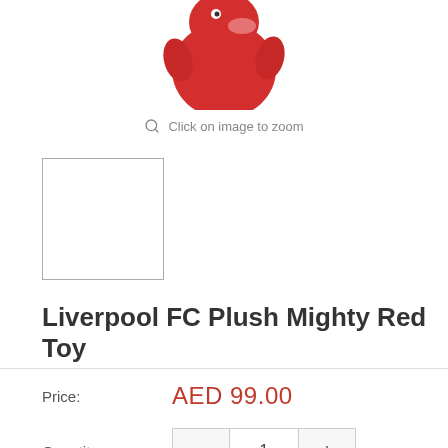[Figure (photo): Partial view of a red Liverpool FC plush toy (Mighty Red mascot) on white background, cropped at top]
Click on image to zoom
[Figure (photo): Small thumbnail image box with border, appears blank/white]
Liverpool FC Plush Mighty Red Toy
Price:    AED 99.00
Quantity:   −  1  +